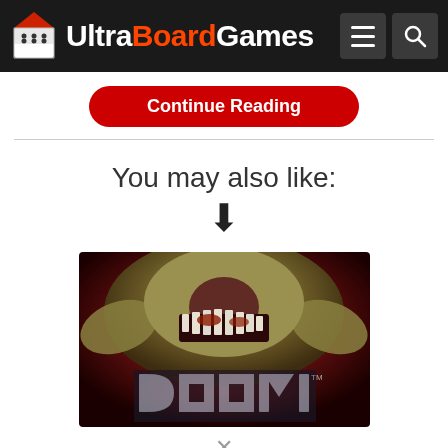UltraBoardGames
Continue Reading
You may also like:
[Figure (photo): DOOM board game box art showing a monster creature with the DOOM logo]
×